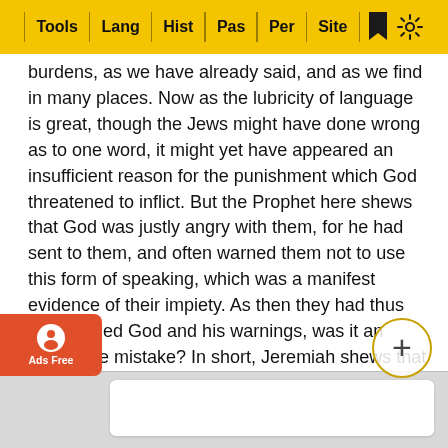Tools | Lang | Hist | Pas | Per | Site
burdens, as we have already said, and as we find in many places. Now as the lubricity of language is great, though the Jews might have done wrong as to one word, it might yet have appeared an insufficient reason for the punishment which God threatened to inflict. But the Prophet here shews that God was justly angry with them, for he had sent to them, and often warned them not to use this form of speaking, which was a manifest evidence of their impiety. As then they had thus disregarded God and his warnings, was it an excusable mistake? In short, Jeremiah shews that they had not erred inconsiderately, as it often happens as to those who speak rashly and thoughtlessly, but that this perverted way of speaking proceeded from determined wickedness, from a wish to affix some mark of disgrace to God's word; thus they acted in disdain towards God himself. This is the import of the words.